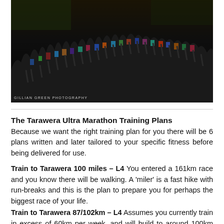[Figure (photo): Night-time group photo of runners at a race start line, wearing colorful race bibs and athletic gear, illuminated against a dark background. Photo credit: GILLIAN GREEN PHOTOGRAPHY]
The Tarawera Ultra Marathon Training Plans
Because we want the right training plan for you there will be 6 plans written and later tailored to your specific fitness before being delivered for use.
Train to Tarawera 100 miles – L4 You entered a 161km race and you know there will be walking. A 'miler' is a fast hike with run-breaks and this is the plan to prepare you for perhaps the biggest race of your life.
Train to Tarawera 87/102km – L4 Assumes you currently train in excess of 60km per week, and will build to around 100km per week.
Train to Tarawera 87/102km – L3 Assumes you are going to complete the 85/100 and will be able to build up to around 60-70k…